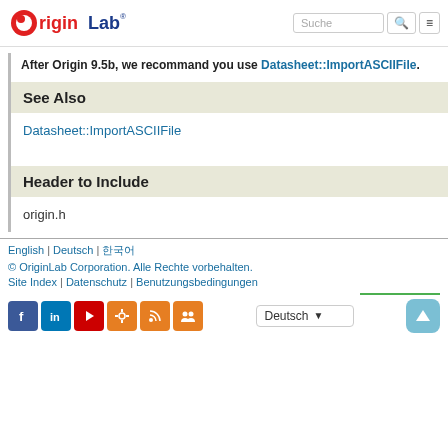OriginLab header with logo, search box, and menu button
After Origin 9.5b, we recommand you use Datasheet::ImportASCIIFile.
See Also
Datasheet::ImportASCIIFile
Header to Include
origin.h
English | Deutsch | 한국어
© OriginLab Corporation. Alle Rechte vorbehalten.
Site Index | Datenschutz | Benutzungsbedingungen